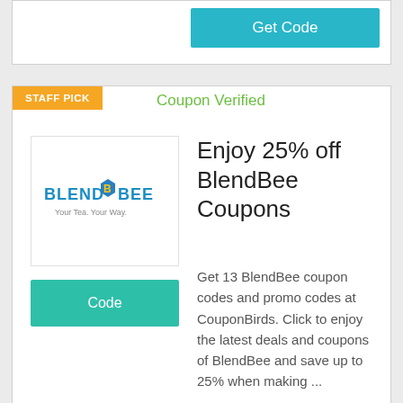[Figure (other): Partial coupon card with Get Code button visible at top]
Get Code
[Figure (logo): BlendBee logo - blue text with bee icon, tagline Your Tea. Your Way.]
STAFF PICK
Coupon Verified
Enjoy 25% off BlendBee Coupons
Code
Get 13 BlendBee coupon codes and promo codes at CouponBirds. Click to enjoy the latest deals and coupons of BlendBee and save up to 25% when making ...
Get Code
STAFF PICK
Coupon Verified